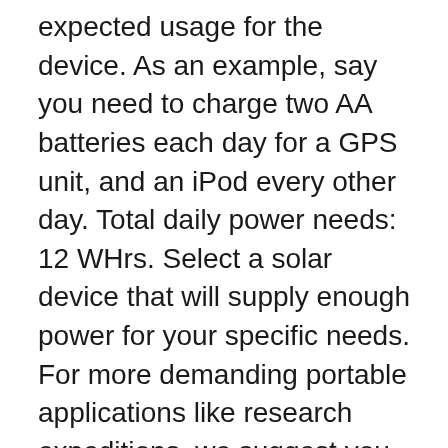expected usage for the device. As an example, say you need to charge two AA batteries each day for a GPS unit, and an iPod every other day. Total daily power needs: 12 WHrs. Select a solar device that will supply enough power for your specific needs. For more demanding portable applications like research expeditions, we suggest you be conservative when estimating the power production from solar panels. It is nearly impossible to get ideal exposure for a solar panel when it is simply strapped to your backpack, draped over your tent, or spread out on the ground. In other words, the available sunlight can be varied.